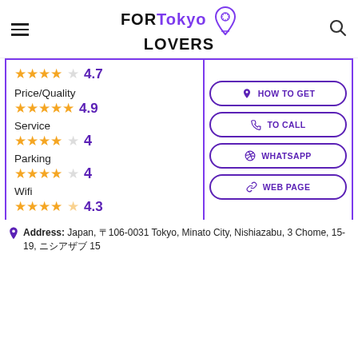FORTokyo LOVERS
4.7
Price/Quality
4.9
Service
4
Parking
4
Wifi
4.3
HOW TO GET
TO CALL
WHATSAPP
WEB PAGE
Address: Japan, 〒106-0031 Tokyo, Minato City, Nishiazabu, 3 Chome, 15-19, ニシアザブ 15